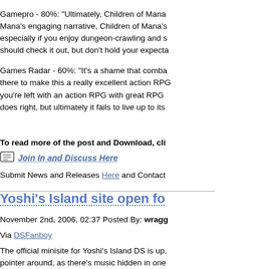Gamepro - 80%: "Ultimately, Children of Mana's engaging narrative, Children of Mana's especially if you enjoy dungeon-crawling and s should check it out, but don't hold your expecta
Games Radar - 60%: "It's a shame that comba there to make this a really excellent action RPG you're left with an action RPG with great RPG does right, but ultimately it fails to live up to its
To read more of the post and Download, cli
Join In and Discuss Here
Submit News and Releases Here and Contact
Yoshi's Island site open fo
November 2nd, 2006, 02:37 Posted By: wragg
Via DSFanboy
The official minisite for Yoshi's Island DS is up, pointer around, as there's music hidden in one simple introduction to the game and the chara
The bad news: the site content, while cute, is p keep an eye out. The game hits stores Novemb
More Info